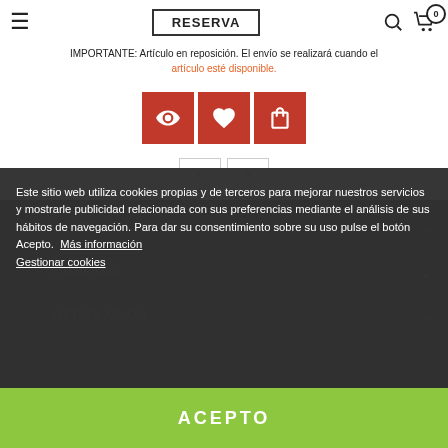RESERVA
IMPORTANTE: Artículo en reposición. El envío se realizará cuando el artículo esté disponible.
[Figure (screenshot): Three red action icon buttons: eye (view), heart (wishlist), shopping bag (add to cart)]
[Figure (screenshot): Navigation previous and next arrow buttons]
Este sitio web utiliza cookies propias y de terceros para mejorar nuestros servicios y mostrarle publicidad relacionada con sus preferencias mediante el análisis de sus hábitos de navegación. Para dar su consentimiento sobre su uso pulse el botón Acepto. Más información Gestionar cookies
SOBRE NOSOTROS
SÍGUENOS
INFORMACIÓN
ACEPTO